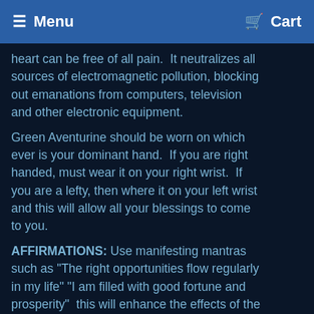Menu  Cart
heart can be free of all pain.  It neutralizes all sources of electromagnetic pollution, blocking out emanations from computers, television and other electronic equipment.
Green Aventurine should be worn on which ever is your dominant hand.  If you are right handed, must wear it on your right wrist.  If you are a lefty, then where it on your left wrist and this will allow all your blessings to come to you.
AFFIRMATIONS: Use manifesting mantras such as "The right opportunities flow regularly in my life" "I am filled with good fortune and prosperity"  this will enhance the effects of the crystal.  I find it extremely helpful to make sure to hold each crystal in your hands and close your eyes and connect to the stone , as you are doing this you set the intentions of exactly what you want this bracelet